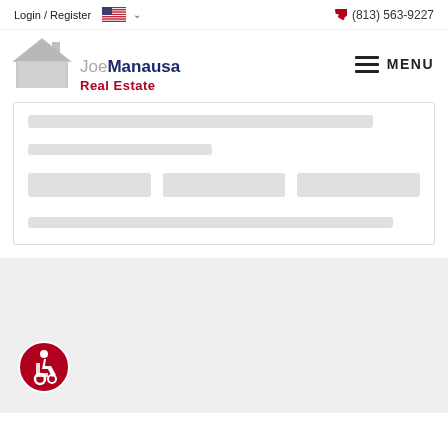Login / Register | (813) 563-9227
[Figure (logo): Joe Manausa Real Estate logo with house icon, company name in grey/navy/red text]
[Figure (other): Loading skeleton placeholder with grey bars indicating content loading]
[Figure (other): Accessibility icon (wheelchair symbol) in red circle at bottom left of footer area]